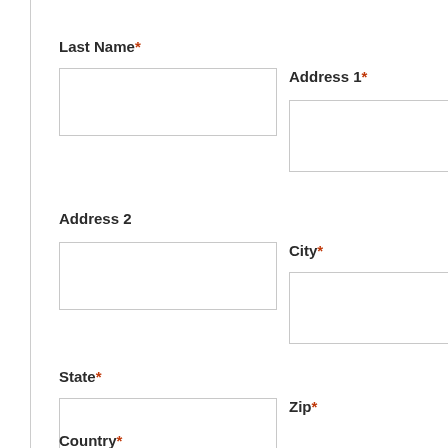Last Name*
Address 1*
Address 2
City*
State*
Zip*
Country*